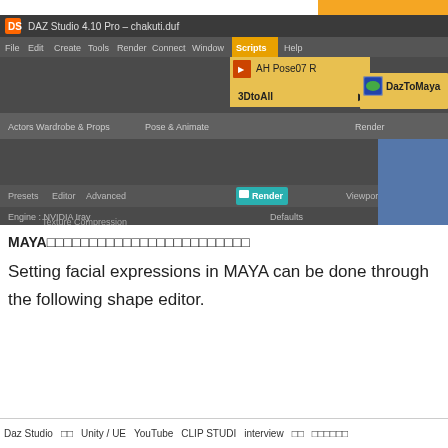[Figure (screenshot): DAZ Studio 4.10 Pro screenshot showing Scripts menu open with 3DtoAll submenu expanded, highlighting DazToMaya option. Menu bar shows File, Edit, Create, Tools, Render, Connect, Window, Scripts, Help. Tabs show Actors/Wardrobe & Props, Pose & Animate. Bottom panel shows Presets, Editor, Advanced tabs with Render button active, Engine: NVIDIA Iray, Defaults, Texture Compression. Render and Viewport labels visible on right.]
[Figure (other): Orange button labeled 'Translator »' in top right corner]
MAYA□□□□□□□□□□□□□□□□□□□□□□□□□
Setting facial expressions in MAYA can be done through the following shape editor.
Daz Studio　　□□　　Unity / UE　YouTube　CLIP STUDI　interview　　□□　　□□□□□□